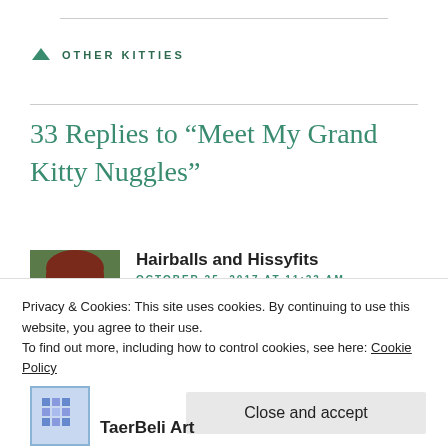OTHER KITTIES
33 Replies to “Meet My Grand Kitty Nuggles”
Hairballs and Hissyfits
OCTOBER 25, 2017 AT 11:23 AM
Nuggles (i love the name) is a real cuttie!
Privacy & Cookies: This site uses cookies. By continuing to use this website, you agree to their use.
To find out more, including how to control cookies, see here: Cookie Policy
Close and accept